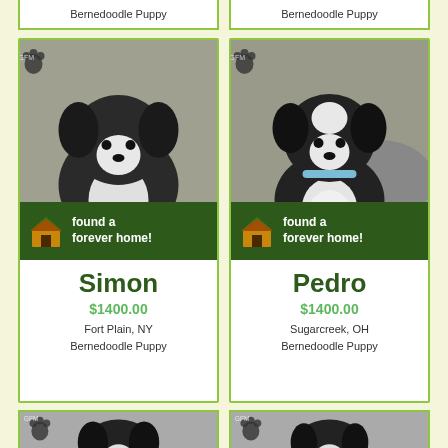Bernedoodle Puppy
Bernedoodle Puppy
[Figure (photo): Black and white Bernedoodle puppy sitting in grass with flowers, with 'found a forever home!' banner]
Simon
$1400.00
Fort Plain, NY
Bernedoodle Puppy
[Figure (photo): Black and white Bernedoodle puppy sitting outdoors with blue collar, with 'found a forever home!' banner]
Pedro
$1400.00
Sugarcreek, OH
Bernedoodle Puppy
[Figure (photo): Black and white Bernedoodle puppy standing near a door, partial view]
[Figure (photo): Black and white Bernedoodle puppy sitting outdoors, partial view]